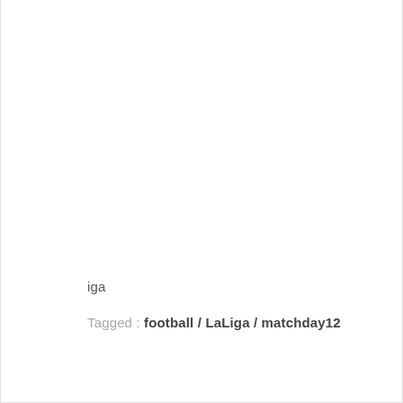iga
Tagged : football / LaLiga / matchday12